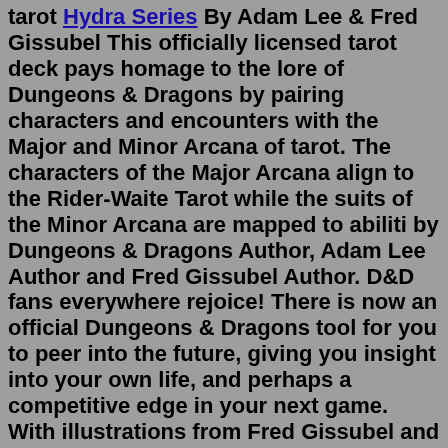tarot Hydra Series By Adam Lee &amp; Fred Gissubel This officially licensed tarot deck pays homage to the lore of Dungeons &amp; Dragons by pairing characters and encounters with the Major and Minor Arcana of tarot. The characters of the Major Arcana align to the Rider-Waite Tarot while the suits of the Minor Arcana are mapped to abiliti by Dungeons & Dragons Author, Adam Lee Author and Fred Gissubel Author. D&D fans everywhere rejoice! There is now an official Dungeons & Dragons tool for you to peer into the future, giving you insight into your own life, and perhaps a competitive edge in your next game. With illustrations from Fred Gissubel and world-building by Adam Lee, this ... Featuring all-new illustrations and a short guide to tarot, this 78-card deck aligns iconic Dungeons & Dragons characters and creatures with the Major and Minor Arcana of tarot. This officially licensed tarot deck pays homage to the lore of Dungeons &amp; Dragons by pairing characters and encounters with the Major and Minor Arcana of tarot. Featuring all-new